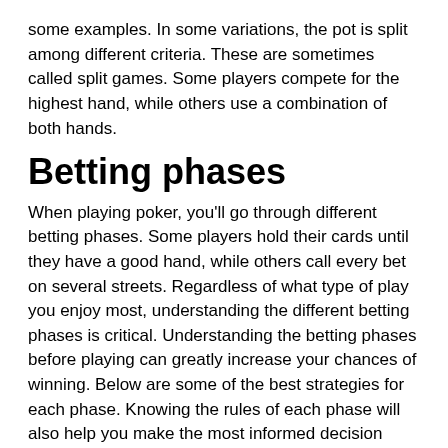some examples. In some variations, the pot is split among different criteria. These are sometimes called split games. Some players compete for the highest hand, while others use a combination of both hands.
Betting phases
When playing poker, you'll go through different betting phases. Some players hold their cards until they have a good hand, while others call every bet on several streets. Regardless of what type of play you enjoy most, understanding the different betting phases is critical. Understanding the betting phases before playing can greatly increase your chances of winning. Below are some of the best strategies for each phase. Knowing the rules of each phase will also help you make the most informed decision possible.
Limits of bets